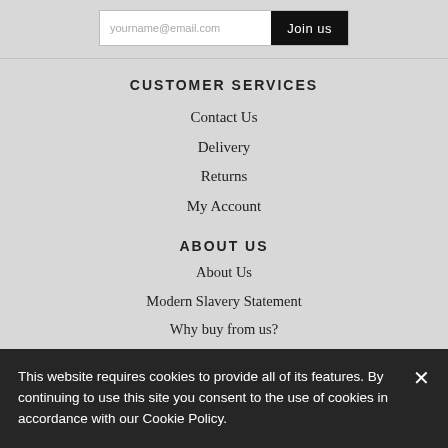[Figure (screenshot): Email input field with placeholder 'yourname@email.com' and a black 'Join us' button]
CUSTOMER SERVICES
Contact Us
Delivery
Returns
My Account
Buying Guide
Curtain Guide
Promotions
ABOUT US
About Us
Modern Slavery Statement
Why buy from us?
This website requires cookies to provide all of its features. By continuing to use this site you consent to the use of cookies in accordance with our Cookie Policy.